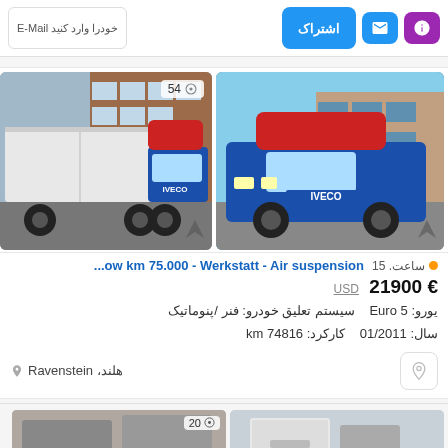[Figure (screenshot): Top action bar with purple icon button, blue icon button, share button in blue (اشتراک), and mail/vehicle import text field]
[Figure (photo): Two photos of a blue IVECO truck with red roof spoiler parked in a lot; right photo shows the truck with a white refrigerated box body; right image shows photo count badge of 54]
...ow km 75.000 - Werkstatt - Air suspension
21900 € USD
یورو: Euro 5  سیستم تعلیق خودرو: فنر /پنوماتیک
سال: 01/2011  کارکرد: km 74816
هلند، Ravenstein
[Figure (photo): Two partial thumbnails of vehicle listings at the bottom of the page; right thumbnail shows photo count badge of 20]